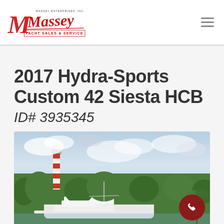[Figure (logo): Massey Yacht Sales and Service logo — Massey Enterprises, Inc. in red script with yacht sales and service text]
2017 Hydra-Sports Custom 42 Siesta HCB
ID# 3935345
[Figure (photo): Photograph of a white boat on water with a red-and-white striped lighthouse visible behind green trees, cloudy sky in background. Red circular call button in bottom right corner.]